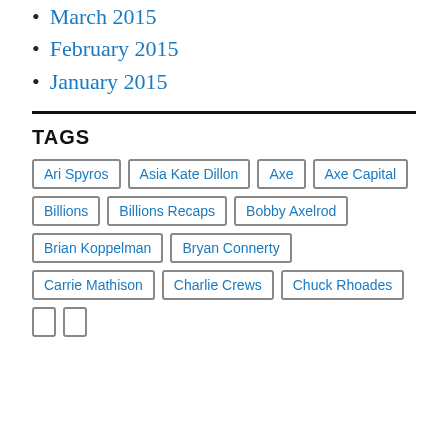March 2015
February 2015
January 2015
TAGS
Ari Spyros
Asia Kate Dillon
Axe
Axe Capital
Billions
Billions Recaps
Bobby Axelrod
Brian Koppelman
Bryan Connerty
Carrie Mathison
Charlie Crews
Chuck Rhoades